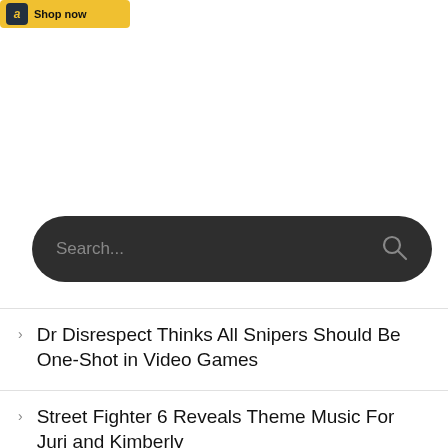[Figure (screenshot): Amazon ad banner with logo and 'Shop now' text on yellow background]
[Figure (screenshot): Dark rounded search bar with 'Search...' placeholder text and search icon]
Dr Disrespect Thinks All Snipers Should Be One-Shot in Video Games
Street Fighter 6 Reveals Theme Music For Juri and Kimberly